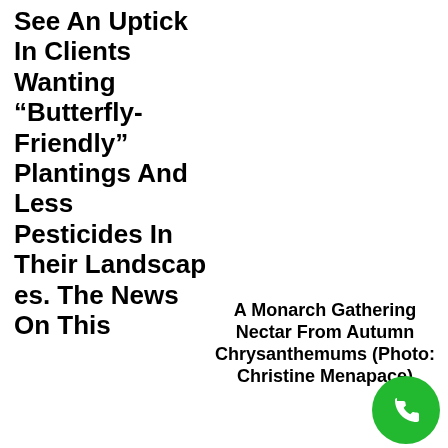See An Uptick In Clients Wanting “Butterfly-Friendly” Plantings And Less Pesticides In Their Landscapes. The News On This Beautiful, Fragile Insect Isn’t Good, But Luckily Awareness Is Spreading.
A Monarch Gathering Nectar From Autumn Chrysanthemums (Photo: Christine Menapace)
Eastern Monarchs, Which Migrate From Southern Canada To Central Mexico Each Fall, Actually Showed An Increase Of 144% Over Last Year’s Count (Its Highest In Over A Decade), But Experts Are Only Cautiously Optimistic Due An Overall Decline Over The Past Two Decades. “This Reprieve From Bad News For Monarchs Is Thank-You From The Butterflies To All The People Who Planted Native Milkweeds And